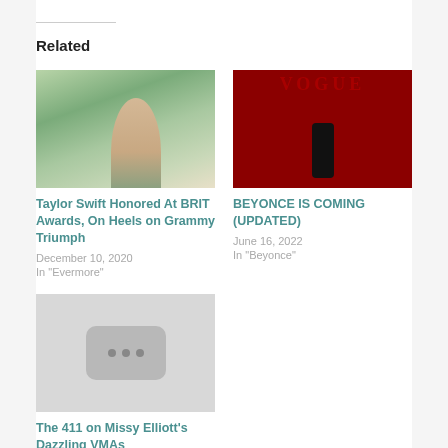Related
[Figure (photo): Photo of Taylor Swift from behind, long wavy hair, outdoor greenery background]
Taylor Swift Honored At BRIT Awards, On Heels on Grammy Triumph
December 10, 2020
In "Evermore"
[Figure (photo): Beyonce on red Vogue magazine cover in black outfit against red background]
BEYONCE IS COMING (UPDATED)
June 16, 2022
In "Beyonce"
[Figure (photo): Placeholder image with three dots icon on grey background]
The 411 on Missy Elliott's Dazzling VMAs Per